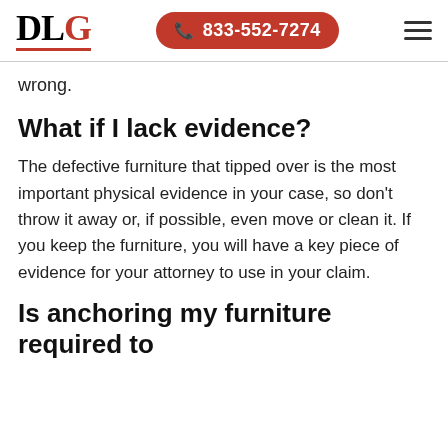DLG | 833-552-7274
wrong.
What if I lack evidence?
The defective furniture that tipped over is the most important physical evidence in your case, so don't throw it away or, if possible, even move or clean it. If you keep the furniture, you will have a key piece of evidence for your attorney to use in your claim.
Is anchoring my furniture required to